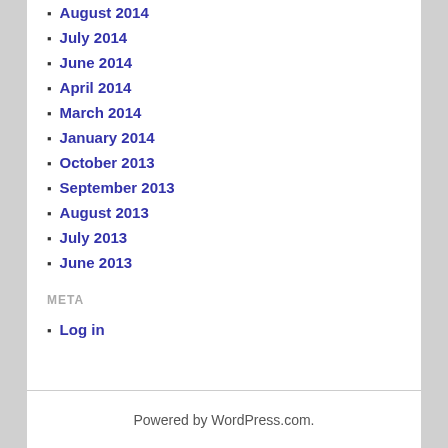August 2014
July 2014
June 2014
April 2014
March 2014
January 2014
October 2013
September 2013
August 2013
July 2013
June 2013
META
Log in
Powered by WordPress.com.